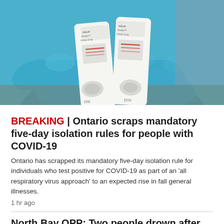[Figure (photo): A gloved hand wearing a blue latex glove holding two Abbott Panbio COVID-19 Ag rapid antigen test devices/cassettes]
BREAKING | Ontario scraps mandatory five-day isolation rules for people with COVID-19
Ontario has scrapped its mandatory five-day isolation rule for individuals who test positive for COVID-19 as part of an 'all respiratory virus approach' to an expected rise in fall general illnesses.
1 hr ago
North Bay OPP: Two people drown after canoe capsizes